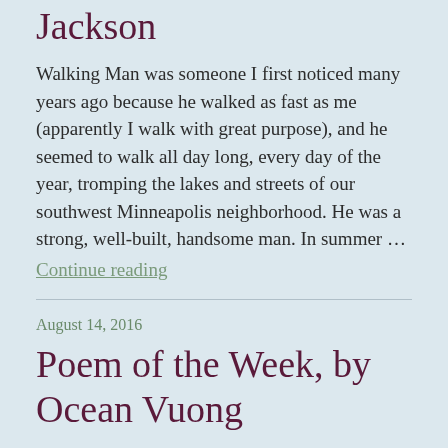Jackson
Walking Man was someone I first noticed many years ago because he walked as fast as me (apparently I walk with great purpose), and he seemed to walk all day long, every day of the year, tromping the lakes and streets of our southwest Minneapolis neighborhood. He was a strong, well-built, handsome man. In summer …
Continue reading
August 14, 2016
Poem of the Week, by Ocean Vuong
A few months ago I began reading poems by Ocean Vuong, at first because his name, Ocean,